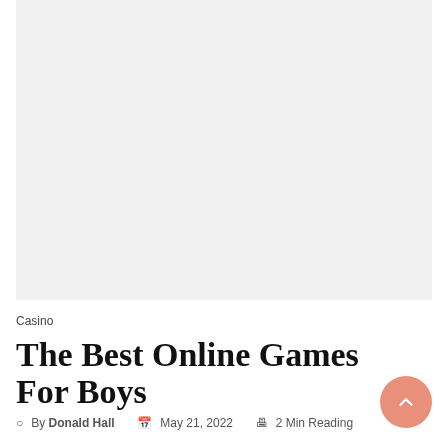[Figure (photo): Large light gray placeholder image area at the top of the page]
Casino
The Best Online Games For Boys
By Donald Hall   May 21, 2022   2 Min Reading